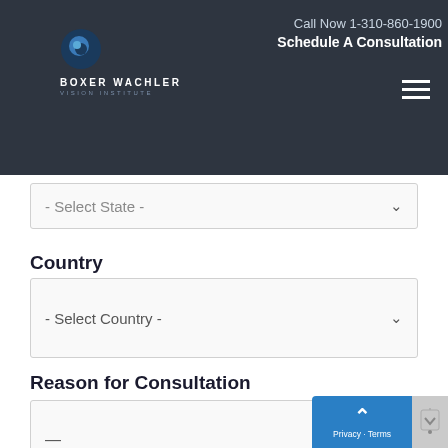Call Now 1-310-860-1900 | Schedule A Consultation | Boxer Wachler Vision Institute
- Select State -
Country
- Select Country -
Reason for Consultation
—
Phone *
Privacy · Terms